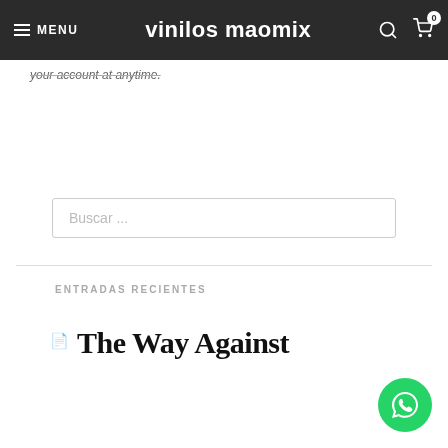MENU | vinilos maomix | 🔍 🛒 0
your account at anytime.
Buscar ...
ENTRADAS RECIENTES
The Way Against